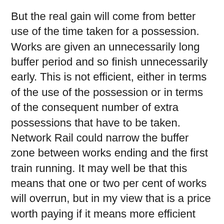But the real gain will come from better use of the time taken for a possession. Works are given an unnecessarily long buffer period and so finish unnecessarily early. This is not efficient, either in terms of the use of the possession or in terms of the consequent number of extra possessions that have to be taken. Network Rail could narrow the buffer zone between works ending and the first train running. It may well be that this means that one or two per cent of works will overrun, but in my view that is a price worth paying if it means more efficient use of time and so reduces the number of possessions required. Then there is the question of the methods used by those undertaking works to the permanent way. Is Network Rail equipped with the most up-to-date equipment to speed up engineering works, and is